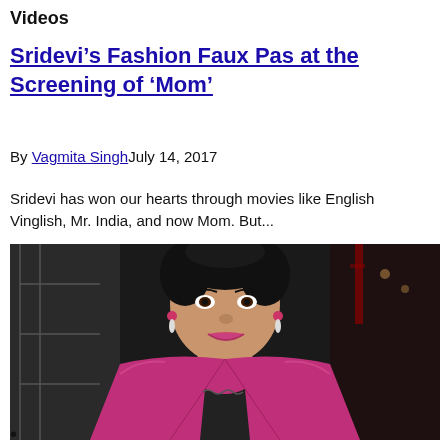Videos
Sridevi’s Fashion Faux Pas at the Screening of ‘Mom’
By Vagmita SinghJuly 14, 2017
Sridevi has won our hearts through movies like English Vinglish, Mr. India, and now Mom. But...
[Figure (photo): Photo of Sridevi wearing a pink velvet blazer over a black lace top, smiling at a film screening event.]
•